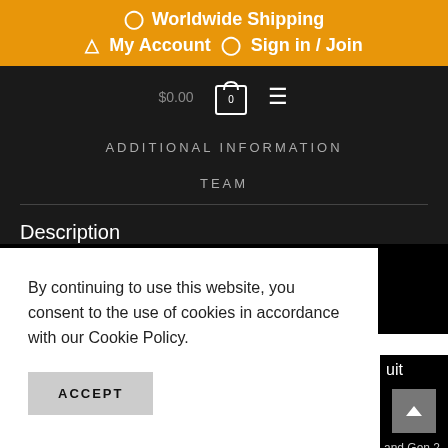📍 Worldwide Shipping  👤 My Account  🔌 Sign in / Join
$0.00  [cart icon 0]  [hamburger menu]
ADDITIONAL INFORMATION
TEAM
Description
By continuing to use this website, you consent to the use of cookies in accordance with our Cookie Policy.
ACCEPT